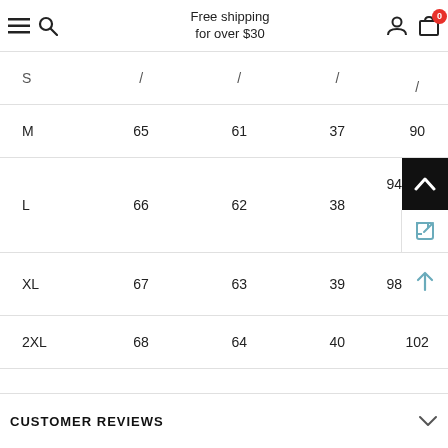Free shipping for over $30
| S | / | / | / | / |
| --- | --- | --- | --- | --- |
| M | 65 | 61 | 37 | 90 |
| L | 66 | 62 | 38 | 94 |
| XL | 67 | 63 | 39 | 98 |
| 2XL | 68 | 64 | 40 | 102 |
CUSTOMER REVIEWS